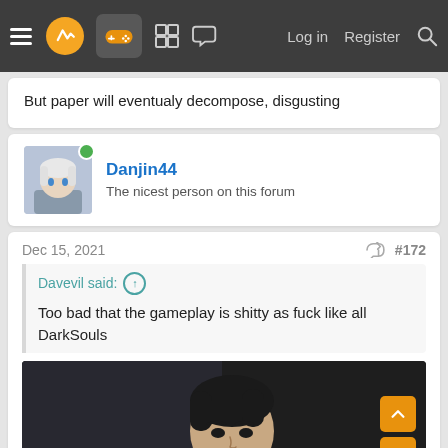Navigation bar with menu, logo, controller icon, grid icon, chat icon, Log in, Register, Search
But paper will eventualy decompose, disgusting
Danjin44 — The nicest person on this forum
Dec 15, 2021  #172
Davevil said: Too bad that the gameplay is shitty as fuck like all DarkSouls
[Figure (photo): Photo of a dark-haired man looking sideways, dark background]